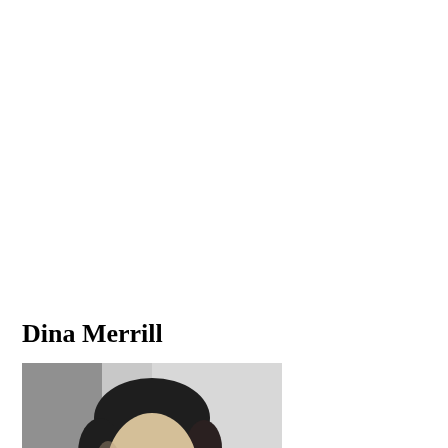Dina Merrill
[Figure (photo): Black and white portrait photograph of Dina Merrill, showing her head and shoulders. She has dark hair pulled back and is wearing earrings.]